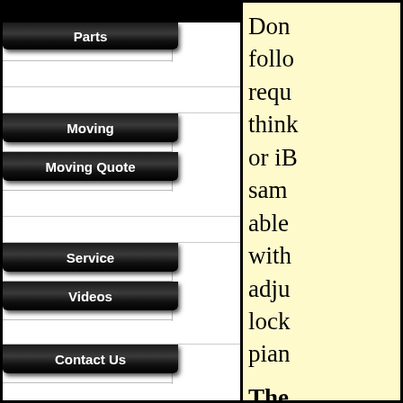[Figure (infographic): Piano keyboard navigation menu with black keys labeled: Parts, Moving, Moving Quote, Service, Videos, Contact Us]
Don't follow requ think or iB sam able with adju lock pian
The